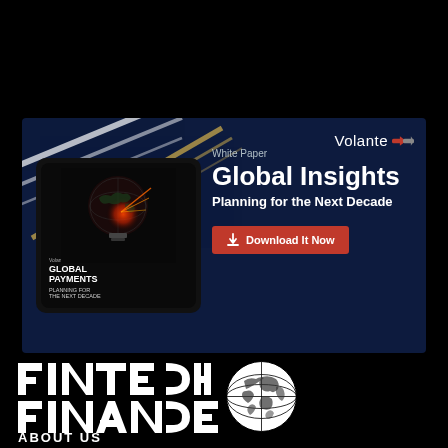[Figure (infographic): Volante Technologies white paper advertisement banner on dark navy background. Shows a tablet displaying a globe inside a lightbulb image labeled 'Global Payments Planning for the Next Decade'. Right side shows Volante logo, 'White Paper' label, title 'Global Insights Planning for the Next Decade', and a red 'Download It Now' button. Decorative diagonal gold and white lines in top-left corner.]
[Figure (logo): Fintech Finance logo — white bold text 'FINTECH FINANCE' with a white globe icon to the right, on black background. Below the logo is 'ABOUT US' text.]